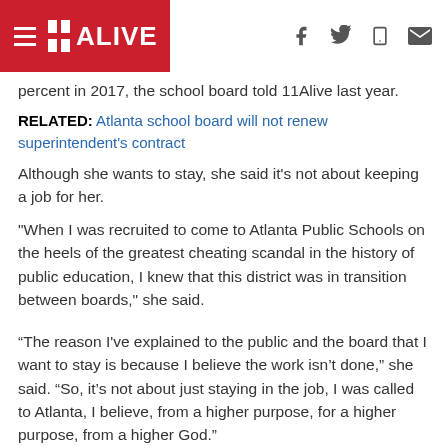11 ALIVE
percent in 2017, the school board told 11Alive last year.
RELATED: Atlanta school board will not renew superintendent's contract
Although she wants to stay, she said it's not about keeping a job for her.
"When I was recruited to come to Atlanta Public Schools on the heels of the greatest cheating scandal in the history of public education, I knew that this district was in transition between boards," she said.
“The reason I've explained to the public and the board that I want to stay is because I believe the work isn’t done,” she said. “So, it’s not about just staying in the job, I was called to Atlanta, I believe, from a higher purpose, for a higher purpose, from a higher God.”